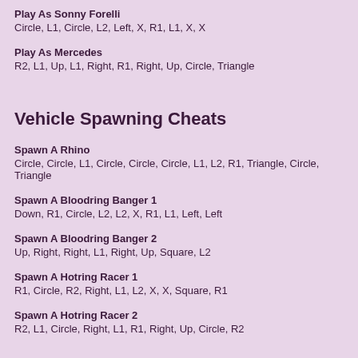Play As Sonny Forelli
Circle, L1, Circle, L2, Left, X, R1, L1, X, X
Play As Mercedes
R2, L1, Up, L1, Right, R1, Right, Up, Circle, Triangle
Vehicle Spawning Cheats
Spawn A Rhino
Circle, Circle, L1, Circle, Circle, Circle, L1, L2, R1, Triangle, Circle, Triangle
Spawn A Bloodring Banger 1
Down, R1, Circle, L2, L2, X, R1, L1, Left, Left
Spawn A Bloodring Banger 2
Up, Right, Right, L1, Right, Up, Square, L2
Spawn A Hotring Racer 1
R1, Circle, R2, Right, L1, L2, X, X, Square, R1
Spawn A Hotring Racer 2
R2, L1, Circle, Right, L1, R1, Right, Up, Circle, R2